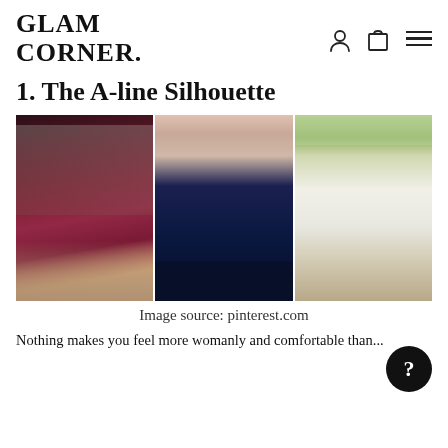GLAM CORNER.
1. The A-line Silhouette
[Figure (photo): Three photos of women wearing A-line dresses: left is a burgundy/wine chiffon midi dress, center is a navy one-shoulder midi dress, right is a white strapless midi dress with a wide-brim hat]
Image source: pinterest.com
Nothing makes you feel more womanly and comfortable than...